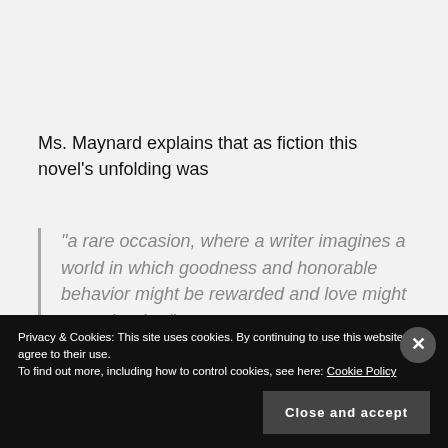Ms. Maynard explains that as fiction this novel's unfolding was
“a rare occasion, where a writer imagines a world in which goodness and honorable behavior might be rewarded and love might carry the day.”
Privacy & Cookies: This site uses cookies. By continuing to use this website, you agree to their use.
To find out more, including how to control cookies, see here: Cookie Policy
Close and accept